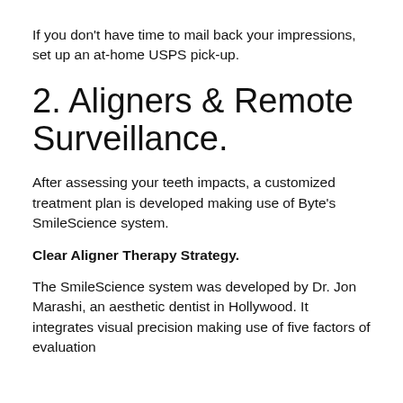If you don't have time to mail back your impressions, set up an at-home USPS pick-up.
2. Aligners & Remote Surveillance.
After assessing your teeth impacts, a customized treatment plan is developed making use of Byte's SmileScience system.
Clear Aligner Therapy Strategy.
The SmileScience system was developed by Dr. Jon Marashi, an aesthetic dentist in Hollywood. It integrates visual precision making use of five factors of evaluation